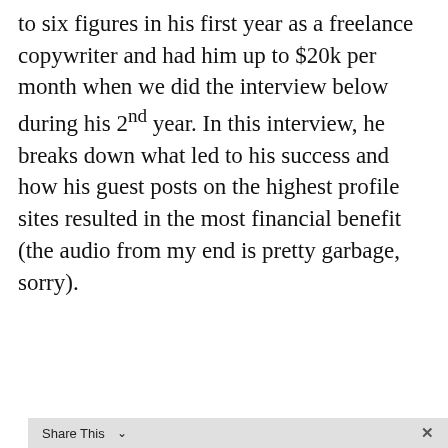to six figures in his first year as a freelance copywriter and had him up to $20k per month when we did the interview below during his 2nd year. In this interview, he breaks down what led to his success and how his guest posts on the highest profile sites resulted in the most financial benefit (the audio from my end is pretty garbage, sorry).
[Figure (screenshot): Embedded YouTube video thumbnail showing 'How To Become A Freelance...' with text overlay 'HOW TO BECOME A HIGH PAID FREELANCE WRITER' and a red YouTube play button. Below is a grey Share This bar with a close button.]